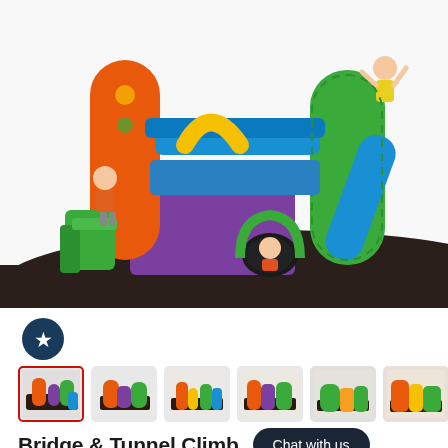[Figure (photo): Children playing on a colorful plastic playground set with slides, tunnels, bridges and climbing structures on dark rubber mulch ground cover.]
[Figure (photo): Six thumbnail images of the Bridge & Tunnel Climber playground set from various angles.]
Bridge & Tunnel Climb
Chat with us
★★★★½ 3 Reviews